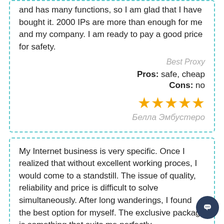and has many functions, so I am glad that I have bought it. 2000 IPs are more than enough for me and my company. I am ready to pay a good price for safety.
Best Proxy
Pros: safe, cheap
Cons: no
[Figure (other): Five gold star rating icons]
Белла Эмбустеро
My Internet business is very specific. Once I realized that without excellent working proces, I would come to a standstill. The issue of quality, reliability and price is difficult to solve simultaneously. After long wanderings, I found the best option for myself. The exclusive package is something that suits me perfectly.